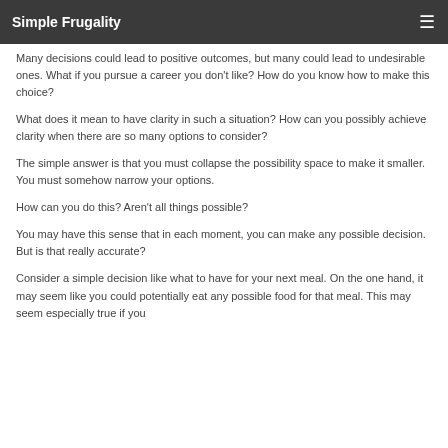Simple Frugality
Many decisions could lead to positive outcomes, but many could lead to undesirable ones. What if you pursue a career you don’t like? How do you know how to make this choice?
What does it mean to have clarity in such a situation? How can you possibly achieve clarity when there are so many options to consider?
The simple answer is that you must collapse the possibility space to make it smaller. You must somehow narrow your options.
How can you do this? Aren’t all things possible?
You may have this sense that in each moment, you can make any possible decision. But is that really accurate?
Consider a simple decision like what to have for your next meal. On the one hand, it may seem like you could potentially eat any possible food for that meal. This may seem especially true if you